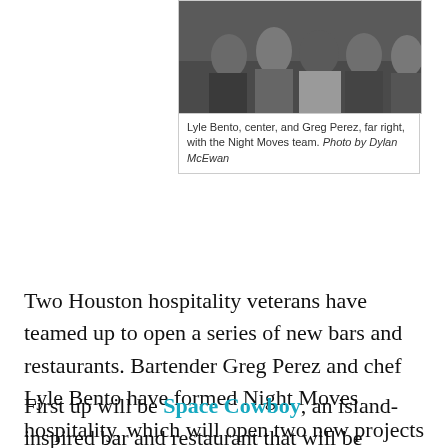[Figure (photo): Group photo of the Night Moves team, partially visible, showing several people standing together]
Lyle Bento, center, and Greg Perez, far right, with the Night Moves team. Photo by Dylan McEwan
Two Houston hospitality veterans have teamed up to open a series of new bars and restaurants. Bartender Greg Perez and chef Lyle Bento have formed Night Moves hospitality, which will open two new projects in the coming months with at least two more concepts to be announced later.
First up will be Space Cowboy, an island-inspired bar and restaurant that will be located at the recently renovated Heights House Hotel. Bartenders Samantha Ruiz and Karen Cervantes will create tropical cocktails, while Bento will serve a menu partially inspired by his Hawaiian roots.